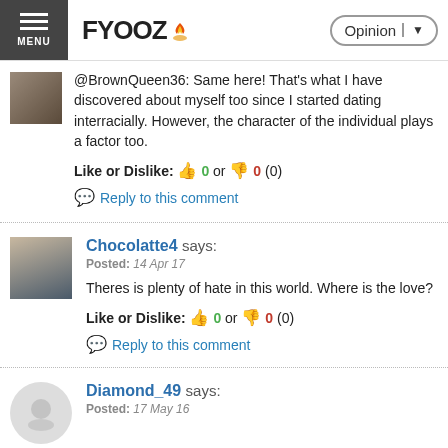FYOOZ | Opinion
@BrownQueen36: Same here! That's what I have discovered about myself too since I started dating interracially. However, the character of the individual plays a factor too.
Like or Dislike: 👍 0 or 👎 0 (0)
Reply to this comment
Chocolatte4 says:
Posted: 14 Apr 17
Theres is plenty of hate in this world. Where is the love?
Like or Dislike: 👍 0 or 👎 0 (0)
Reply to this comment
Diamond_49 says:
Posted: 17 May 16